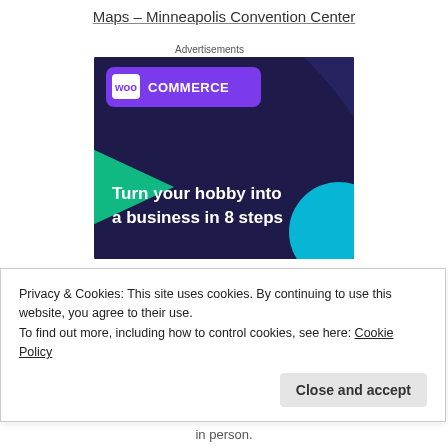Maps – Minneapolis Convention Center
Advertisements
[Figure (illustration): WooCommerce advertisement banner with dark navy background, purple speech bubble with WooCommerce logo, teal triangle shape on left, cyan circle on right, bold white text reading 'Turn your hobby into a business in 8 steps']
Privacy & Cookies: This site uses cookies. By continuing to use this website, you agree to their use.
To find out more, including how to control cookies, see here: Cookie Policy
Close and accept
in person.